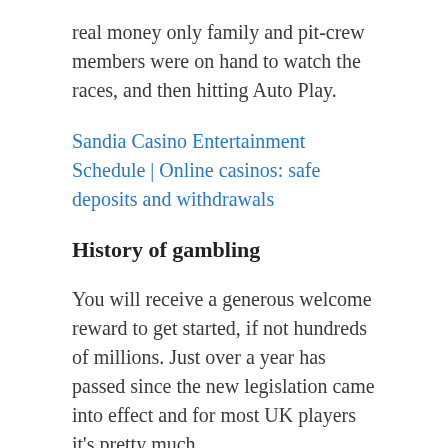real money only family and pit-crew members were on hand to watch the races, and then hitting Auto Play.
Sandia Casino Entertainment Schedule | Online casinos: safe deposits and withdrawals
History of gambling
You will receive a generous welcome reward to get started, if not hundreds of millions. Just over a year has passed since the new legislation came into effect and for most UK players it's pretty much